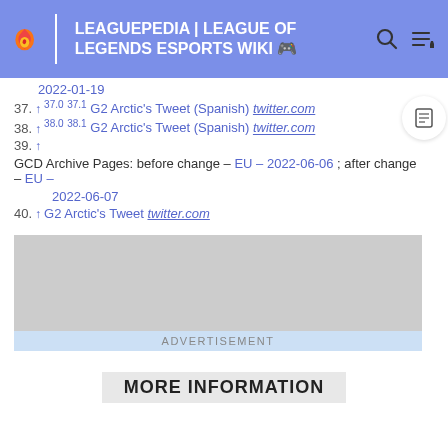LEAGUEPEDIA | LEAGUE OF LEGENDS ESPORTS WIKI
2022-01-19
37. ↑ 37.0 37.1 G2 Arctic's Tweet (Spanish) twitter.com
38. ↑ 38.0 38.1 G2 Arctic's Tweet (Spanish) twitter.com
39. ↑ GCD Archive Pages: before change – EU – 2022-06-06; after change – EU – 2022-06-07
40. ↑ G2 Arctic's Tweet twitter.com
[Figure (other): Advertisement placeholder block]
MORE INFORMATION